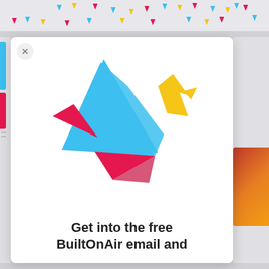[Figure (illustration): Decorative confetti strip with colorful small triangles (cyan, yellow, pink/magenta) scattered across the top of the page on a light gray background]
[Figure (logo): BuiltOnAir origami bird logo composed of geometric triangles in cyan/teal, magenta/pink, and yellow colors forming an abstract flying bird shape]
Get into the free BuiltOnAir email and